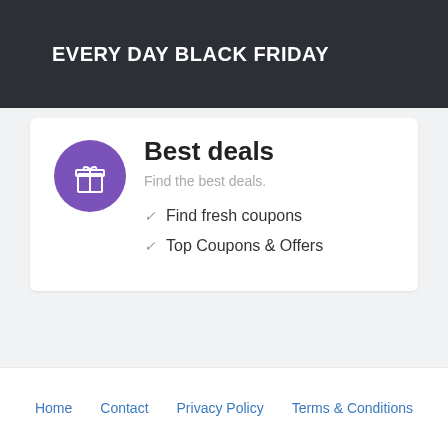EVERY DAY BLACK FRIDAY
Best deals
Find the best deals.
Find fresh coupons
Top Coupons & Offers
Home   Contact   Privacy Policy   Terms & Conditions